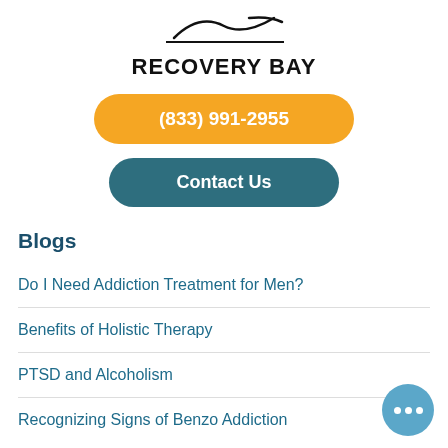[Figure (logo): Recovery Bay logo with stylized signature mark above bold text RECOVERY BAY]
(833) 991-2955
Contact Us
Blogs
Do I Need Addiction Treatment for Men?
Benefits of Holistic Therapy
PTSD and Alcoholism
Recognizing Signs of Benzo Addiction